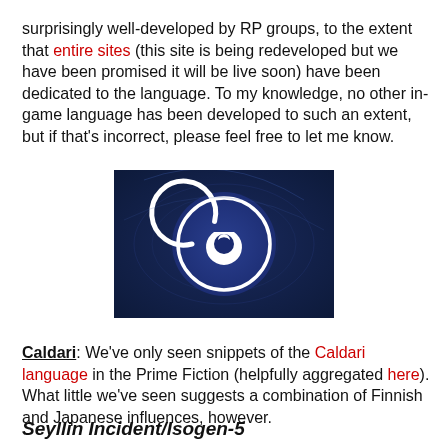surprisingly well-developed by RP groups, to the extent that entire sites (this site is being redeveloped but we have been promised it will be live soon) have been dedicated to the language. To my knowledge, no other in-game language has been developed to such an extent, but if that's incorrect, please feel free to let me know.
[Figure (photo): A dark blue fabric or surface with a white stylized circular logo (Caldari symbol) featuring a spiral/crescent design in the center.]
Caldari: We've only seen snippets of the Caldari language in the Prime Fiction (helpfully aggregated here). What little we've seen suggests a combination of Finnish and Japanese influences, however.
Seyllin Incident/Isogen-5